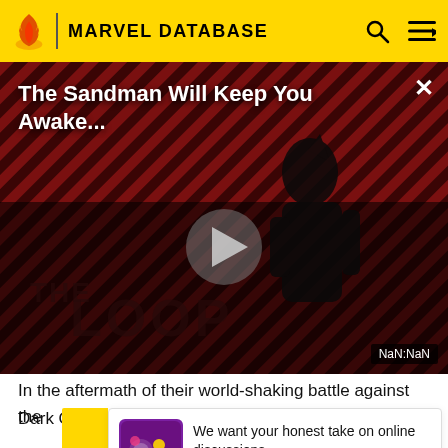MARVEL DATABASE
[Figure (screenshot): Video player showing 'The Sandman Will Keep You Awake...' with a dark-themed thumbnail featuring a figure in black, diagonal stripe pattern background in red/dark tones, THE LOOP watermark, play button overlay, close (X) button, and NaN:NaN timestamp badge.]
In the aftermath of their world-shaking battle against the Dark O... form... t the to... Moun... s
[Figure (infographic): Survey banner: 'We want your honest take on online discussions' with a colorful icon and link text 'SURVEY: ONLINE FORUMS'. Yellow arrow/chevron on left side.]